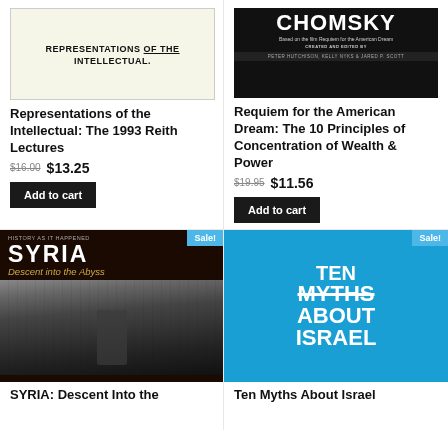[Figure (illustration): Book cover: Representations of the Intellectual, cream/yellow background with bold title text]
Representations of the Intellectual: The 1993 Reith Lectures
$16.00 $13.25
Add to cart
[Figure (illustration): Book cover: Chomsky - Requiem for the American Dream, dark background with large CHOMSKY text]
Requiem for the American Dream: The 10 Principles of Concentration of Wealth & Power
$19.95 $11.56
Add to cart
[Figure (illustration): Book cover: SYRIA: Descent into the Abyss, dark cover with war photo and Sale! badge]
SYRIA: Descent Into the
[Figure (illustration): Book cover: Ten Myths About Israel, bright blue cover with large white text and strikethroughs, Sale! badge]
Ten Myths About Israel